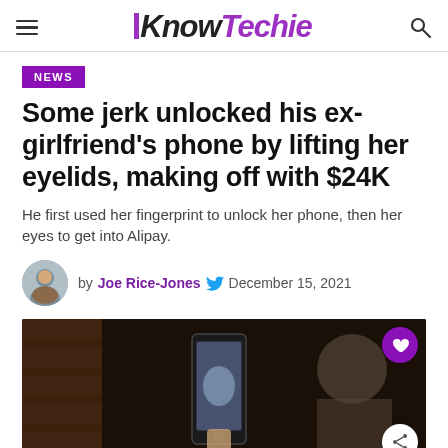KnowTechie
NEWS
Some jerk unlocked his ex-girlfriend's phone by lifting her eyelids, making off with $24K
He first used her fingerprint to unlock her phone, then her eyes to get into Alipay.
by Joe Rice-Jones  December 15, 2021
[Figure (photo): Photo of a person holding a smartphone, with another person blurred in the background]